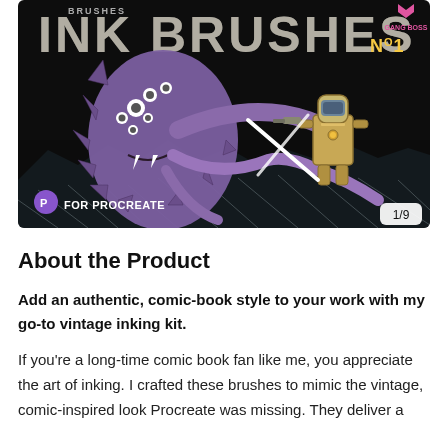[Figure (illustration): Comic book cover image titled 'INK BRUSHES No1' showing a large purple alien monster with multiple eyes and tentacles fighting a robot/astronaut figure in a space setting. Text reads 'FOR PROCREATE' in bottom left and '1/9' badge in bottom right corner.]
About the Product
Add an authentic, comic-book style to your work with my go-to vintage inking kit.
If you're a long-time comic book fan like me, you appreciate the art of inking. I crafted these brushes to mimic the vintage, comic-inspired look Procreate was missing. They deliver a